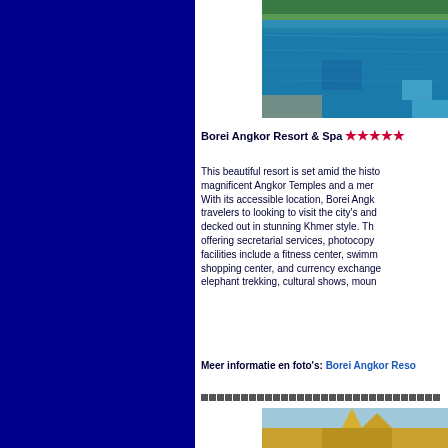[Figure (photo): Swimming pool photo of Borei Angkor Resort]
Borei Angkor Resort & Spa ★★★★★
This beautiful resort is set amid the historic magnificent Angkor Temples and a mere With its accessible location, Borei Angk travelers to looking to visit the city's and decked out in stunning Khmer style. Th offering secretarial services, photocopy facilities include a fitness center, swimm shopping center, and currency exchange elephant trekking, cultural shows, moun
Meer informatie en foto's: Borei Angkor Reso
[Figure (photo): Bottom photo of Borei Angkor Resort building]